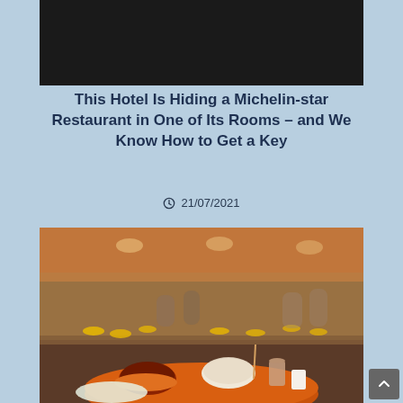[Figure (photo): Dark/black image at top, possibly a video thumbnail placeholder]
This Hotel Is Hiding a Michelin-star Restaurant in One of Its Rooms – and We Know How to Get a Key
21/07/2021
[Figure (photo): Photo of a hawker centre food court with orange round tables and yellow stools, filled with people. In the foreground, a round orange table shows bowls of food including what appears to be noodle dishes and a drink.]